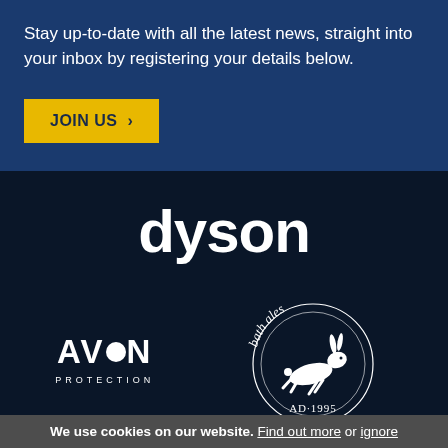Stay up-to-date with all the latest news, straight into your inbox by registering your details below.
[Figure (other): JOIN US > button (gold/yellow background, dark text)]
[Figure (logo): Dyson logo in white text on dark navy background]
[Figure (logo): Avon Protection logo in white on dark navy background]
[Figure (logo): Bath Ales logo with hare illustration and AD 1995, white on dark navy]
[Figure (logo): Partial logos at bottom of page (Geodec and another brand)]
We use cookies on our website. Find out more or ignore